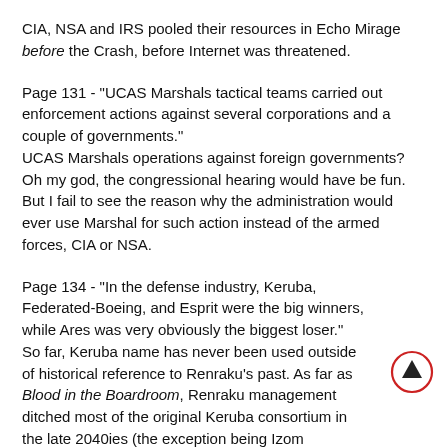CIA, NSA and IRS pooled their resources in Echo Mirage before the Crash, before Internet was threatened.
Page 131 - "UCAS Marshals tactical teams carried out enforcement actions against several corporations and a couple of governments." UCAS Marshals operations against foreign governments? Oh my god, the congressional hearing would have be fun. But I fail to see the reason why the administration would ever use Marshal for such action instead of the armed forces, CIA or NSA.
Page 134 - "In the defense industry, Keruba, Federated-Boeing, and Esprit were the big winners, while Ares was very obviously the biggest loser." So far, Keruba name has never been used outside of historical reference to Renraku's past. As far as Blood in the Boardroom, Renraku management ditched most of the original Keruba consortium in the late 2040ies (the exception being Izom Armaments and possibly Gaz-Niki). Keruba hasn't been listed as a current subsidiary or brand name of Renraku in Corporate Download or
[Figure (other): A circular button with an upward arrow icon, red circle outline with a dark upward-pointing arrow in the center.]